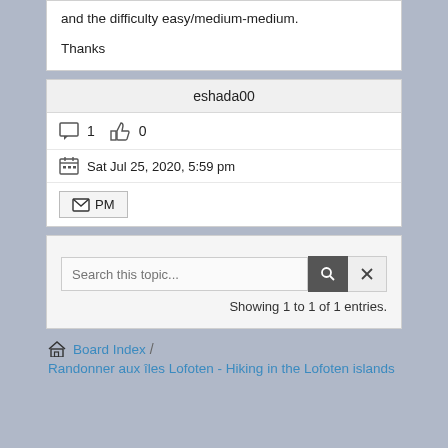and the difficulty easy/medium-medium.

Thanks
eshada00
1  0  Sat Jul 25, 2020, 5:59 pm
PM
Search this topic...  Showing 1 to 1 of 1 entries.
Board Index / Randonner aux îles Lofoten - Hiking in the Lofoten islands